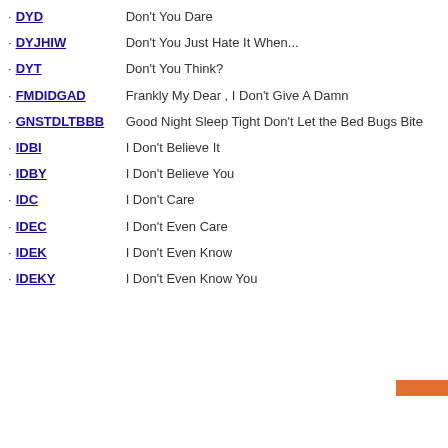DYD — Don't You Dare
DYJHIW — Don't You Just Hate It When...
DYT — Don't You Think?
FMDIDGAD — Frankly My Dear , I Don't Give A Damn
GNSTDLTBBB — Good Night Sleep Tight Don't Let the Bed Bugs Bite
IDBI — I Don't Believe It
IDBY — I Don't Believe You
IDC — I Don't Care
IDEC — I Don't Even Care
IDEK — I Don't Even Know
IDEKY — I Don't Even Know You